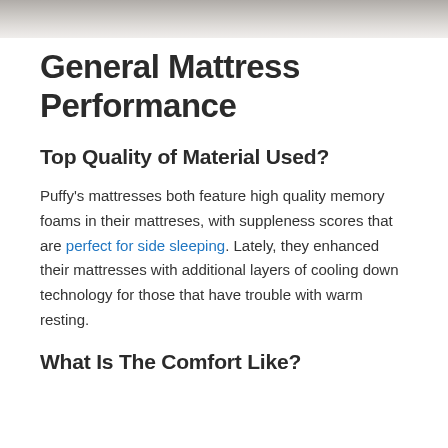[Figure (photo): Partial photo of a mattress or bedding, cropped at the top of the page]
General Mattress Performance
Top Quality of Material Used?
Puffy's mattresses both feature high quality memory foams in their mattreses, with suppleness scores that are perfect for side sleeping. Lately, they enhanced their mattresses with additional layers of cooling down technology for those that have trouble with warm resting.
What Is The Comfort Like?